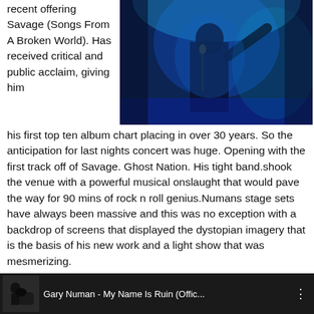recent offering Savage (Songs From A Broken World). Has received critical and public acclaim, giving him his first top ten album chart placing in over 30 years. So the anticipation for last nights concert was huge. Opening with the first track off of Savage. Ghost Nation. His tight band.shook the venue with a powerful musical onslaught that would pave the way for 90 mins of rock n roll genius.Numans stage sets have always been massive and this was no exception with a backdrop of screens that displayed the dystopian imagery that is the basis of his new work and a light show that was mesmerizing.
[Figure (photo): Concert photo of Gary Numan on stage under blue lighting, pointing to the crowd while singing into a microphone]
[Figure (screenshot): Video thumbnail showing Gary Numan - My Name Is Ruin (Offic... with a small thumbnail image on the left and three-dot menu on the right]